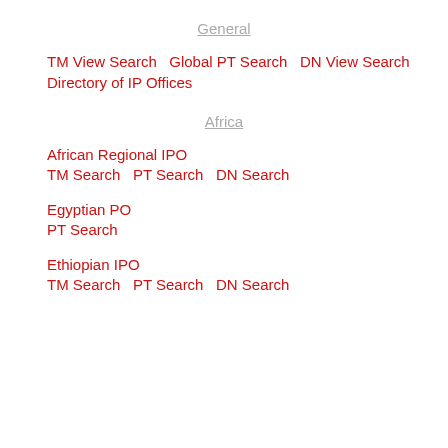General
TM View Search   Global PT Search   DN View Search
Directory of IP Offices
Africa
African Regional IPO
TM Search   PT Search   DN Search
Egyptian PO
PT Search
Ethiopian IPO
TM Search   PT Search   DN Search